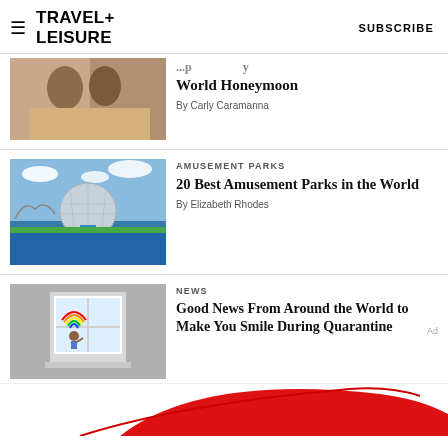TRAVEL+ LEISURE  SUBSCRIBE
[Figure (photo): Two people dining at a restaurant, partially visible at top]
World Honeymoon
By Carly Caramanna
[Figure (photo): EPCOT sphere at Walt Disney World with fountains and gardens]
AMUSEMENT PARKS
20 Best Amusement Parks in the World
By Elizabeth Rhodes
[Figure (photo): Window with rainbow drawing, person waving inside, grey building exterior]
NEWS
Good News From Around the World to Make You Smile During Quarantine
[Figure (other): Advertisement banner with red swoosh on white background]